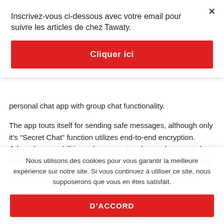Inscrivez-vous ci-dessous avec votre email pour suivre les articles de chez Tawaty.
Cliquer ici
personal chat app with group chat functionality.
The app touts itself for sending safe messages, although only it's “Secret Chat” function utilizes end-to-end encryption. Other chat capabilities, whereas not end-to-end encrypted, use different encryption measures and are stated to be pretty
Nous utilisons des cookies pour vous garantir la meilleure expérience sur notre site. Si vous continuez à utiliser ce site, nous supposerons que vous en êtes satisfait.
D’ACCORD